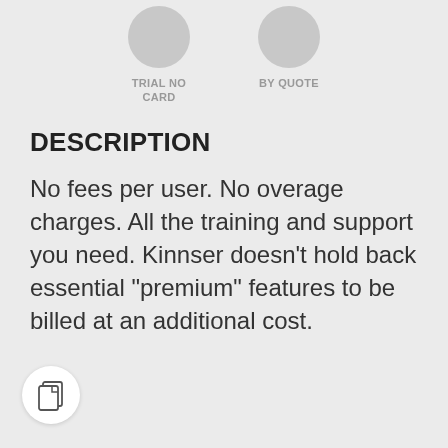[Figure (infographic): Two partially visible circular icon buttons at top: 'TRIAL NO CARD' and 'BY QUOTE']
DESCRIPTION
No fees per user. No overage charges. All the training and support you need. Kinnser doesn’t hold back essential “premium” features to be billed at an additional cost.
[Figure (illustration): Small circular white button with a copy/document icon at bottom left]